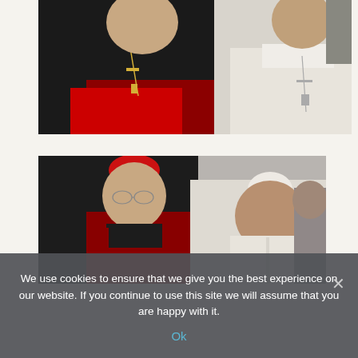[Figure (photo): Close-up photograph of a Catholic Cardinal in black and red vestments with cross on the left, and a figure in white papal vestments on the right, with another person partially visible. Background is light/overcast.]
[Figure (photo): Photograph of a Catholic Cardinal wearing a red zucchetto and black vestments with red trim on the left, smiling, and Pope Francis in white vestments in the center-right, with another person partially visible in background.]
We use cookies to ensure that we give you the best experience on our website. If you continue to use this site we will assume that you are happy with it.
Ok